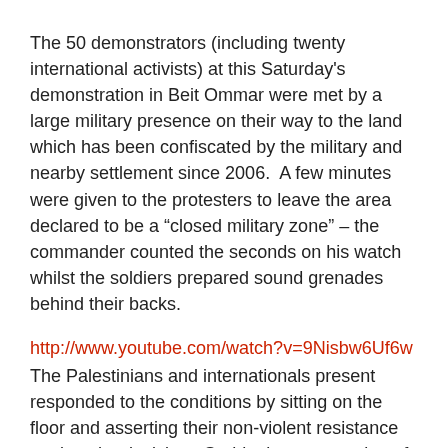The 50 demonstrators (including twenty international activists) at this Saturday's demonstration in Beit Ommar were met by a large military presence on their way to the land which has been confiscated by the military and nearby settlement since 2006.  A few minutes were given to the protesters to leave the area declared to be a “closed military zone” – the commander counted the seconds on his watch whilst the soldiers prepared sound grenades behind their backs.
http://www.youtube.com/watch?v=9Nisbw6Uf6w
The Palestinians and internationals present responded to the conditions by sitting on the floor and asserting their non-violent resistance against the decision.  Suddenly a succession of ten or more sound bombs exploded in the crowd and it was clear that soldiers had been instructed to throw them at the fleeing protesters.  Two international women were targeted from close range; one being hit in the back and the other in the head.
The severe response from the military caused many